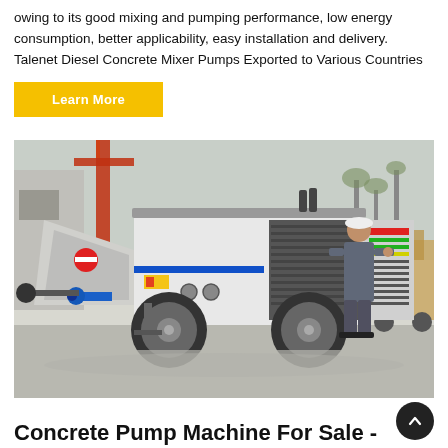owing to its good mixing and pumping performance, low energy consumption, better applicability, easy installation and delivery. Talenet Diesel Concrete Mixer Pumps Exported to Various Countries
Learn More
[Figure (photo): A diesel concrete mixer pump machine on a trailer with large wheels, featuring a hopper on the left and a control panel on the right, with a worker in grey overalls inspecting the machine. A crane and forklift are visible in the background on an outdoor concrete surface.]
Concrete Pump Machine For Sale -